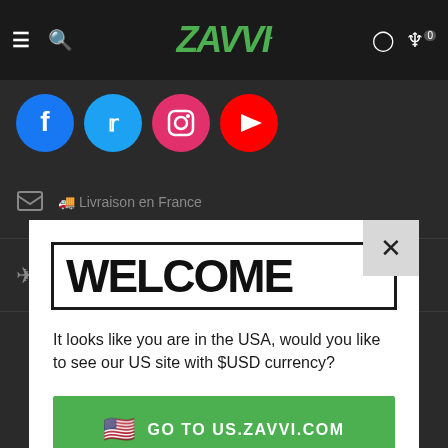ZAVVI
[Figure (screenshot): Social media icons: Facebook, Twitter, Instagram, YouTube]
WELCOME
It looks like you are in the USA, would you like to see our US site with $USD currency?
🇺🇸  GO TO US.ZAVVI.COM
Non merci, je veux rester sur FR.ZAVVI.COM
Livraison en France
Livraison à l'international